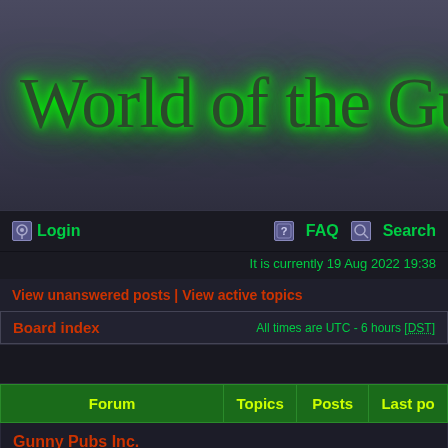[Figure (screenshot): Banner logo showing 'World of the Gunn' in large serif font with green glow effect on dark blue-grey background]
Login | FAQ | Search
It is currently 19 Aug 2022 19:38
View unanswered posts | View active topics
Board index   All times are UTC - 6 hours [DST]
| Forum | Topics | Posts | Last po |
| --- | --- | --- | --- |
| Gunny Pubs Inc. |  |  |  |
| Books Published by |  |  |  |